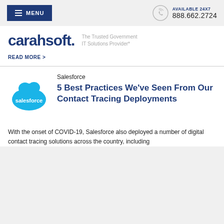MENU | AVAILABLE 24X7 888.662.2724
[Figure (logo): Carahsoft logo with tagline 'The Trusted Government IT Solutions Provider*']
READ MORE >
Salesforce
[Figure (logo): Salesforce cloud logo]
5 Best Practices We've Seen From Our Contact Tracing Deployments
With the onset of COVID-19, Salesforce also deployed a number of digital contact tracing solutions across the country, including